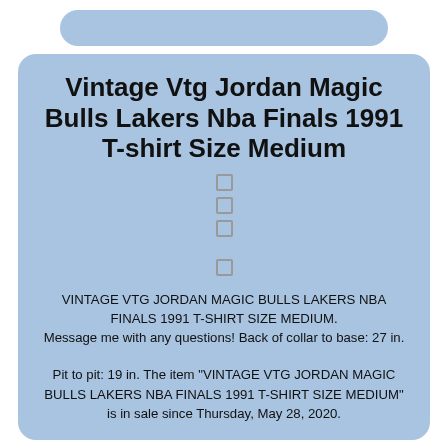Vintage Vtg Jordan Magic Bulls Lakers Nba Finals 1991 T-shirt Size Medium
VINTAGE VTG JORDAN MAGIC BULLS LAKERS NBA FINALS 1991 T-SHIRT SIZE MEDIUM. Message me with any questions! Back of collar to base: 27 in.
Pit to pit: 19 in. The item "VINTAGE VTG JORDAN MAGIC BULLS LAKERS NBA FINALS 1991 T-SHIRT SIZE MEDIUM" is in sale since Thursday, May 28, 2020.